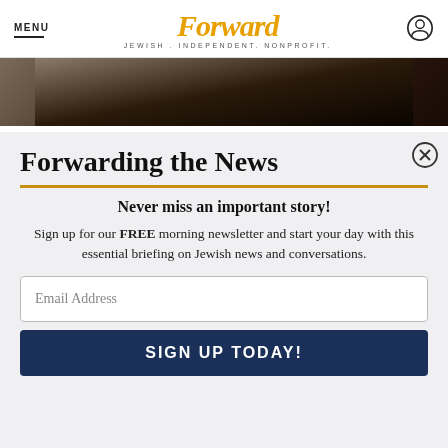MENU | Forward — JEWISH . INDEPENDENT . NONPROFIT.
[Figure (photo): Partial photo of a person in dark clothing, cropped, visible at top of page behind modal overlay]
Forwarding the News
Never miss an important story!
Sign up for our FREE morning newsletter and start your day with this essential briefing on Jewish news and conversations.
Email Address
SIGN UP TODAY!